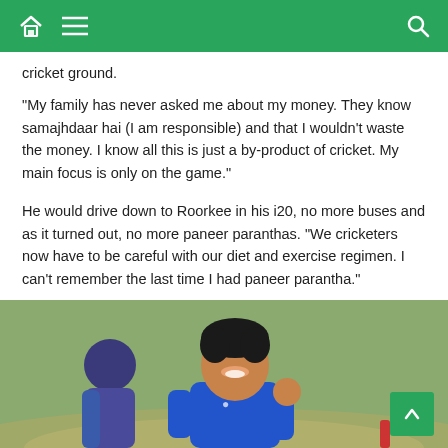[Navigation bar with home, menu, and search icons]
cricket ground.
"My family has never asked me about my money. They know samajhdaar hai (I am responsible) and that I wouldn’t waste the money. I know all this is just a by-product of cricket. My main focus is only on the game."
He would drive down to Roorkee in his i20, no more buses and as it turned out, no more paneer paranthas. "We cricketers now have to be careful with our diet and exercise regimen. I can’t remember the last time I had paneer parantha."
[Figure (photo): A smiling young cricket player in a blue jersey giving a thumbs up, with another player visible in the background, on a cricket ground]